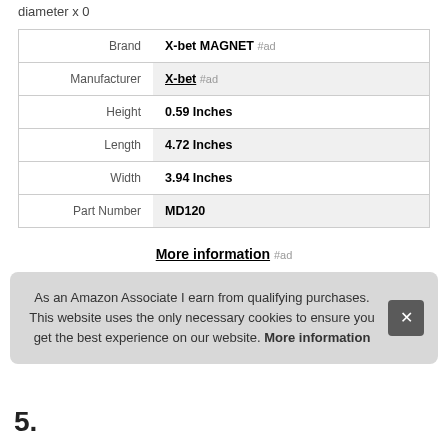diameter x 0
| Label | Value |
| --- | --- |
| Brand | X-bet MAGNET #ad |
| Manufacturer | X-bet #ad |
| Height | 0.59 Inches |
| Length | 4.72 Inches |
| Width | 3.94 Inches |
| Part Number | MD120 |
More information #ad
As an Amazon Associate I earn from qualifying purchases. This website uses the only necessary cookies to ensure you get the best experience on our website. More information